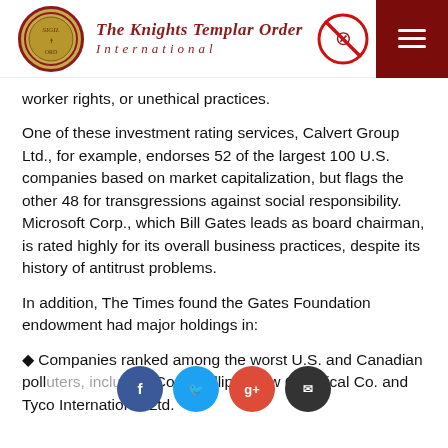The Knights Templar Order International
worker rights, or unethical practices.
One of these investment rating services, Calvert Group Ltd., for example, endorses 52 of the largest 100 U.S. companies based on market capitalization, but flags the other 48 for transgressions against social responsibility. Microsoft Corp., which Bill Gates leads as board chairman, is rated highly for its overall business practices, despite its history of antitrust problems.
In addition, The Times found the Gates Foundation endowment had major holdings in:
◆ Companies ranked among the worst U.S. and Canadian pollu…, inclu…ConoPhillips, Dow Chemical Co. and Tyco International Ltd.